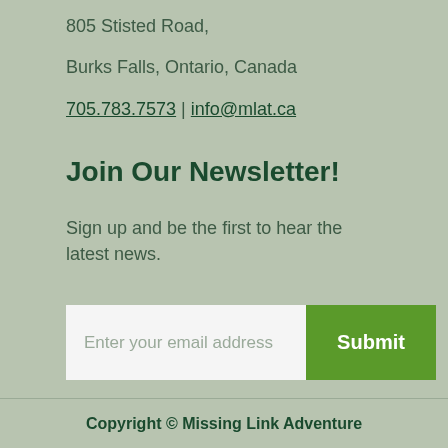805 Stisted Road,
Burks Falls, Ontario, Canada
705.783.7573 | info@mlat.ca
Join Our Newsletter!
Sign up and be the first to hear the latest news.
Enter your email address  Submit
Copyright © Missing Link Adventure